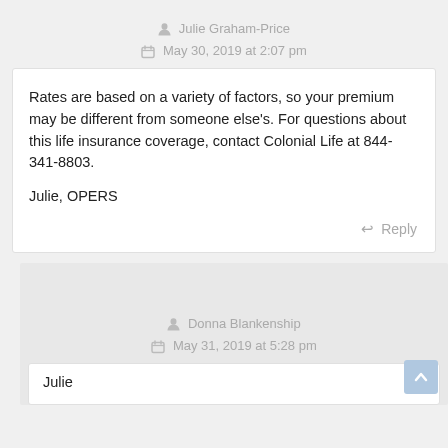Julie Graham-Price
May 30, 2019 at 2:07 pm
Rates are based on a variety of factors, so your premium may be different from someone else's. For questions about this life insurance coverage, contact Colonial Life at 844-341-8803.

Julie, OPERS
Reply
Donna Blankenship
May 31, 2019 at 5:28 pm
Julie